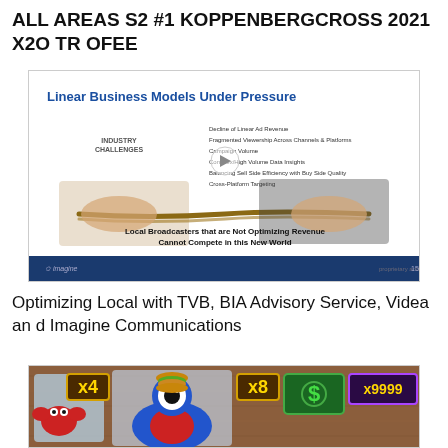ALL AREAS S2 #1 KOPPENBERGCROSS 2021 X2O TROFEE
[Figure (screenshot): Slide screenshot titled 'Linear Business Models Under Pressure' showing industry challenges list and tug-of-war image with text 'Local Broadcasters that are Not Optimizing Revenue Cannot Compete in this New World'. Bottom bar shows 'imagine' logo.]
Optimizing Local with TVB, BIA Advisory Service, Videa and Imagine Communications
[Figure (screenshot): Screenshot of a colorful game interface showing animated characters including a blue monster with a burger, multipliers (x4, x8), dollar signs, and score display x9999 against a wooden background.]